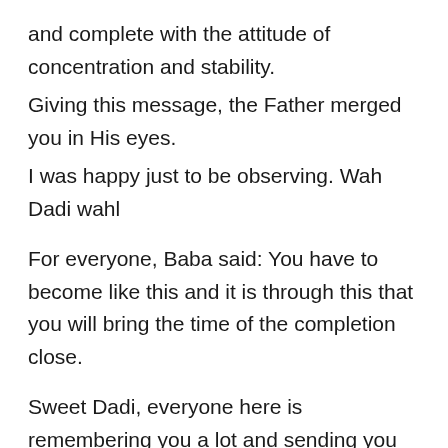and complete with the attitude of concentration and stability.
Giving this message, the Father merged you in His eyes.
I was happy just to be observing. Wah Dadi wahl
For everyone, Baba said: You have to become like this and it is through this that you will bring the time of the completion close.
Sweet Dadi, everyone here is remembering you a lot and sending you lots of love and remembrance. I am now meeting the teachers of all the centres individually and all of them are very happy.